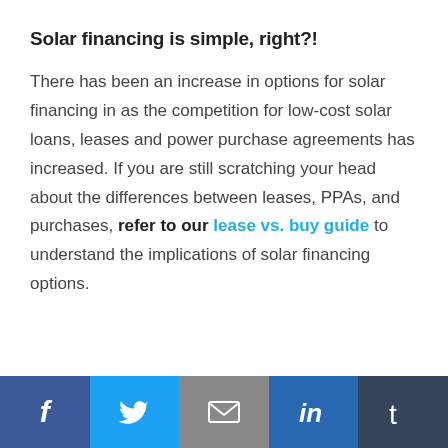Solar financing is simple, right?!
There has been an increase in options for solar financing in as the competition for low-cost solar loans, leases and power purchase agreements has increased. If you are still scratching your head about the differences between leases, PPAs, and purchases, refer to our lease vs. buy guide to understand the implications of solar financing options.
Social share bar: Facebook, Twitter, Email, LinkedIn, Tumblr